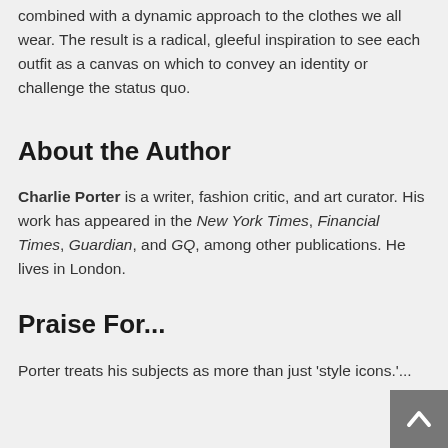combined with a dynamic approach to the clothes we all wear. The result is a radical, gleeful inspiration to see each outfit as a canvas on which to convey an identity or challenge the status quo.
About the Author
Charlie Porter is a writer, fashion critic, and art curator. His work has appeared in the New York Times, Financial Times, Guardian, and GQ, among other publications. He lives in London.
Praise For...
Porter treats his subjects as more than just 'style icons.'...